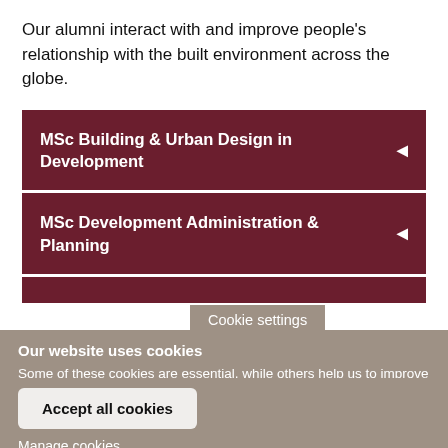Our alumni interact with and improve people's relationship with the built environment across the globe.
MSc Building & Urban Design in Development
MSc Development Administration & Planning
Cookie settings
Our website uses cookies
Some of these cookies are essential, while others help us to improve your experience of our website. Find out more: Privacy Policy (opens in new window)
Accept all cookies
Manage cookies